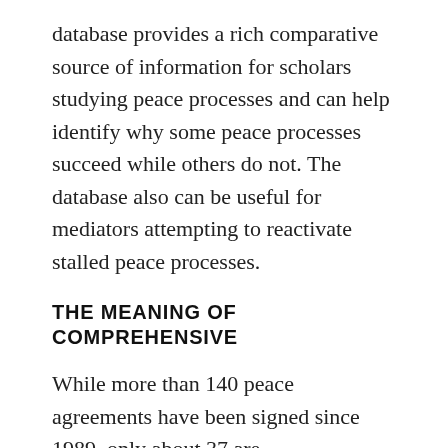database provides a rich comparative source of information for scholars studying peace processes and can help identify why some peace processes succeed while others do not. The database also can be useful for mediators attempting to reactivate stalled peace processes.
THE MEANING OF COMPREHENSIVE
While more than 140 peace agreements have been signed since 1989, only about 37 are “comprehensive,” meaning the major parties in the conflict were involved in a negotiation process and all substantive